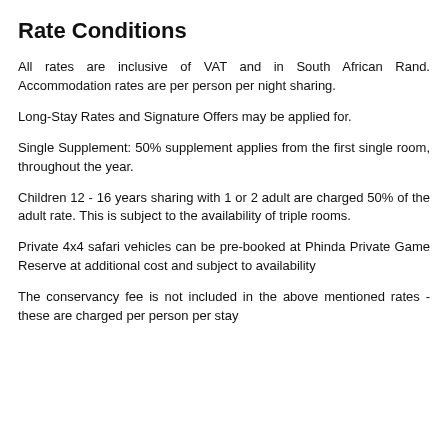Rate Conditions
All rates are inclusive of VAT and in South African Rand. Accommodation rates are per person per night sharing.
Long-Stay Rates and Signature Offers may be applied for.
Single Supplement: 50% supplement applies from the first single room, throughout the year.
Children 12 - 16 years sharing with 1 or 2 adult are charged 50% of the adult rate. This is subject to the availability of triple rooms.
Private 4x4 safari vehicles can be pre-booked at Phinda Private Game Reserve at additional cost and subject to availability
The conservancy fee is not included in the above mentioned rates - these are charged per person per stay